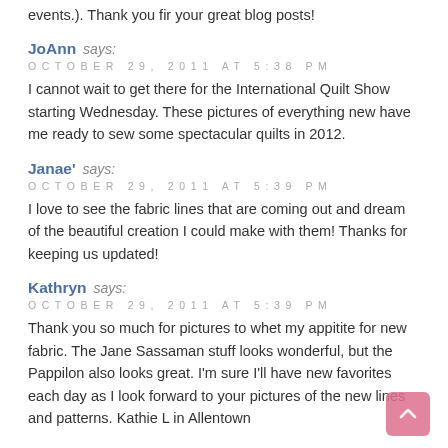events.). Thank you fir your great blog posts!
JoAnn says:
OCTOBER 29, 2011 AT 5:38 PM
I cannot wait to get there for the International Quilt Show starting Wednesday. These pictures of everything new have me ready to sew some spectacular quilts in 2012.
Janae' says:
OCTOBER 29, 2011 AT 5:39 PM
I love to see the fabric lines that are coming out and dream of the beautiful creation I could make with them! Thanks for keeping us updated!
Kathryn says:
OCTOBER 29, 2011 AT 5:39 PM
Thank you so much for pictures to whet my appitite for new fabric. The Jane Sassaman stuff looks wonderful, but the Pappilon also looks great. I'm sure I'll have new favorites each day as I look forward to your pictures of the new lines and patterns. Kathie L in Allentown